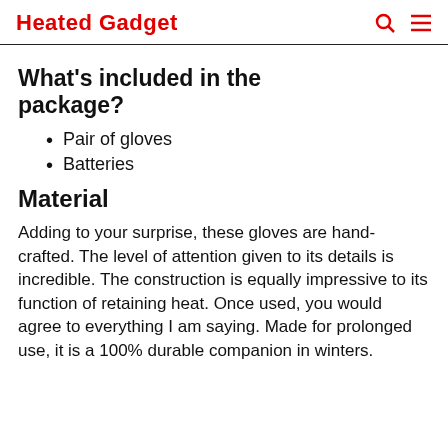Heated Gadget
What's included in the package?
Pair of gloves
Batteries
Material
Adding to your surprise, these gloves are hand-crafted. The level of attention given to its details is incredible. The construction is equally impressive to its function of retaining heat. Once used, you would agree to everything I am saying. Made for prolonged use, it is a 100% durable companion in winters.